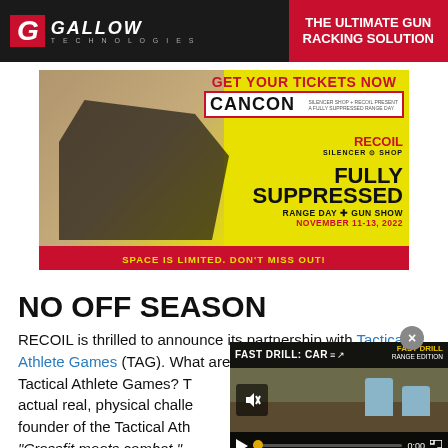[Figure (advertisement): Gallow Technologies banner ad — THE ULTIMATE GUN RACKING SOLUTION]
[Figure (advertisement): CANCON ad — GET YOUR TICKETS NOW, CANCON, RECOIL + SILENCER SHOP, FULLY SUPPRESSED RANGE DAY + GUN SHOW, NOVEMBER 11-13, 2022, SPACE IS LIMITED. DON'T MISS OUT!]
NO OFF SEASON
RECOIL is thrilled to announce its partnership with Tactical Athlete Games (TAG). What are the Tactical Athlete Games? T… actual real, physical challe… founder of the Tactical Ath… "Crossfit meets combat."
[Figure (screenshot): Video overlay: FAST DRILL: CAR… with mute button, play controls, progress bar at 0:00]